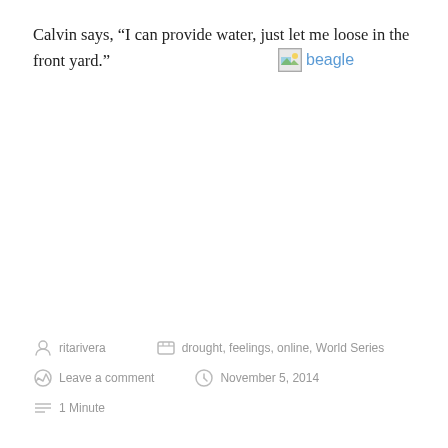Calvin says, “I can provide water, just let me loose in the front yard.”
[Figure (other): Broken image placeholder with alt text 'beagle' and a link styled in blue]
ritarivera   drought, feelings, online, World Series   Leave a comment   November 5, 2014   1 Minute